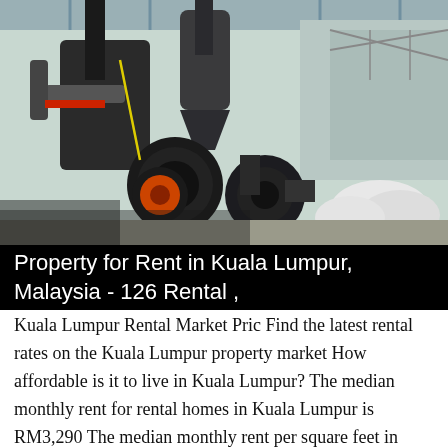[Figure (photo): Industrial facility showing large machinery including fans, blowers, pipes, and dust collection equipment inside a warehouse-like structure with white aggregate or mineral material visible in the background.]
Property for Rent in Kuala Lumpur, Malaysia - 126 Rental ,
Kuala Lumpur Rental Market Pric Find the latest rental rates on the Kuala Lumpur property market How affordable is it to live in Kuala Lumpur? The median monthly rent for rental homes in Kuala Lumpur is RM3,290 The median monthly rent per square feet in Kuala Lumpur is RM3. At